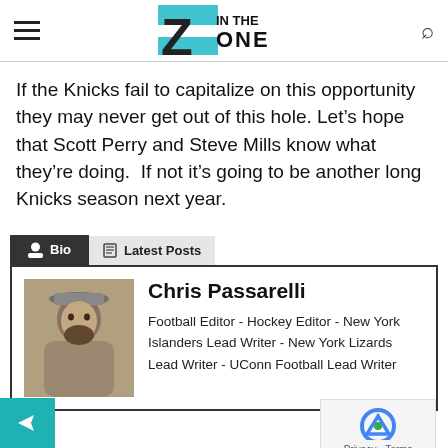IN THE ZONE (logo)
If the Knicks fail to capitalize on this opportunity they may never get out of this hole. Let’s hope that Scott Perry and Steve Mills know what they’re doing.  If not it’s going to be another long Knicks season next year.
Bio | Latest Posts
Chris Passarelli
Football Editor - Hockey Editor - New York Islanders Lead Writer - New York Lizards Lead Writer - UConn Football Lead Writer